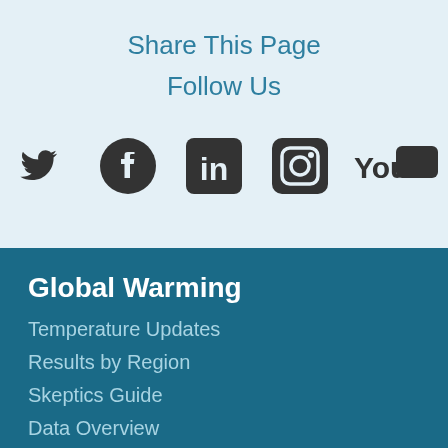Share This Page
Follow Us
[Figure (infographic): Row of five social media icons: Twitter bird, Facebook F in circle, LinkedIn 'in' in square, Instagram camera in square, YouTube 'You' with play button rectangle]
Global Warming
Temperature Updates
Results by Region
Skeptics Guide
Data Overview